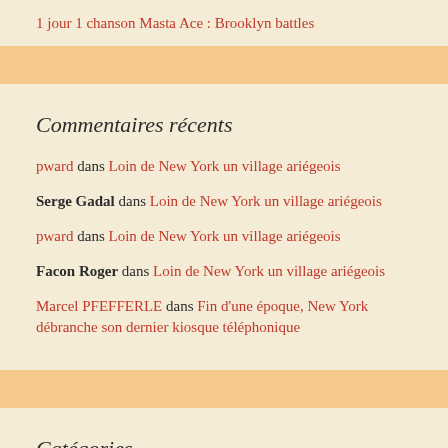1 jour 1 chanson Masta Ace : Brooklyn battles
Commentaires récents
pward dans Loin de New York un village ariégeois
Serge Gadal dans Loin de New York un village ariégeois
pward dans Loin de New York un village ariégeois
Facon Roger dans Loin de New York un village ariégeois
Marcel PFEFFERLE dans Fin d'une époque, New York débranche son dernier kiosque téléphonique
Catégories
Architecture